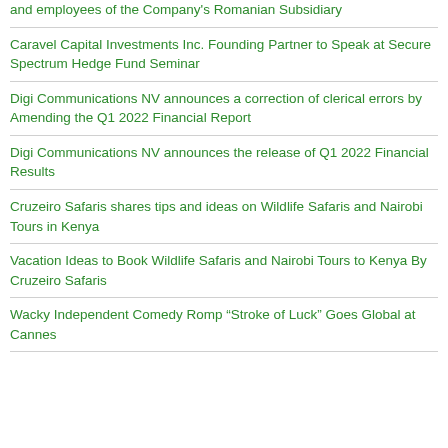and employees of the Company's Romanian Subsidiary
Caravel Capital Investments Inc. Founding Partner to Speak at Secure Spectrum Hedge Fund Seminar
Digi Communications NV announces a correction of clerical errors by Amending the Q1 2022 Financial Report
Digi Communications NV announces the release of Q1 2022 Financial Results
Cruzeiro Safaris shares tips and ideas on Wildlife Safaris and Nairobi Tours in Kenya
Vacation Ideas to Book Wildlife Safaris and Nairobi Tours to Kenya By Cruzeiro Safaris
Wacky Independent Comedy Romp “Stroke of Luck” Goes Global at Cannes